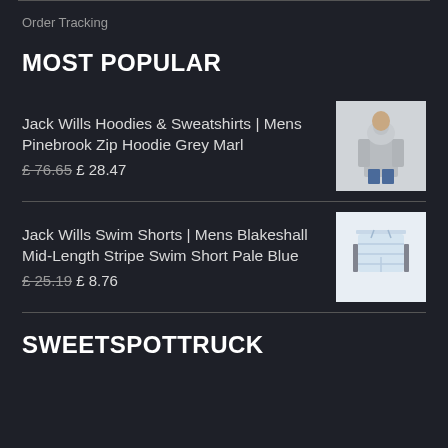Order Tracking
MOST POPULAR
Jack Wills Hoodies & Sweatshirts | Mens Pinebrook Zip Hoodie Grey Marl £ 76.65 £ 28.47
Jack Wills Swim Shorts | Mens Blakeshall Mid-Length Stripe Swim Short Pale Blue £ 25.19 £ 8.76
SWEETSPOTTRUCK